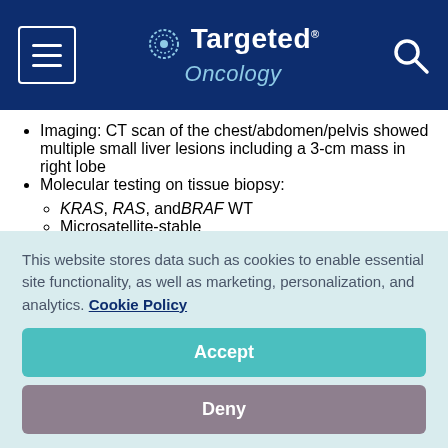Targeted Oncology
Imaging: CT scan of the chest/abdomen/pelvis showed multiple small liver lesions including a 3-cm mass in right lobe
Molecular testing on tissue biopsy:
KRAS, RAS, and BRAF WT
Microsatellite-stable
ECOG PS 1
This website stores data such as cookies to enable essential site functionality, as well as marketing, personalization, and analytics. Cookie Policy
Accept
Deny